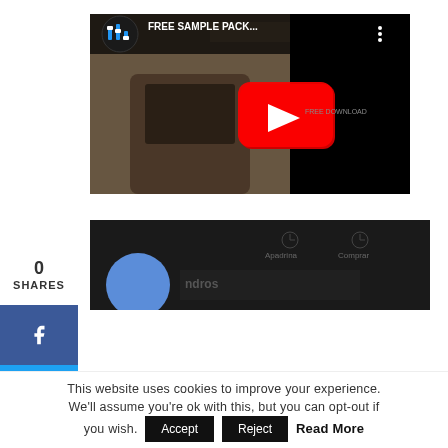0
SHARES
[Figure (screenshot): YouTube video thumbnail showing 'FREE SAMPLE PACK...' with a music mixer icon, red play button, and dark background with a phone image]
[Figure (screenshot): Dark screenshot of a website with circular profile image and text partially visible]
This website uses cookies to improve your experience. We'll assume you're ok with this, but you can opt-out if you wish.
Accept
Reject
Read More